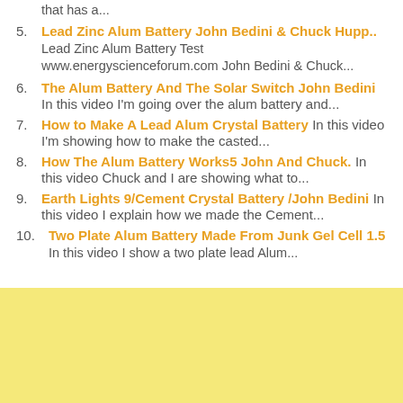that has a...
5. Lead Zinc Alum Battery John Bedini & Chuck Hupp.. Lead Zinc Alum Battery Test www.energyscienceforum.com John Bedini & Chuck...
6. The Alum Battery And The Solar Switch John Bedini In this video I'm going over the alum battery and...
7. How to Make A Lead Alum Crystal Battery In this video I'm showing how to make the casted...
8. How The Alum Battery Works5 John And Chuck. In this video Chuck and I are showing what to...
9. Earth Lights 9/Cement Crystal Battery /John Bedini In this video I explain how we made the Cement...
10. Two Plate Alum Battery Made From Junk Gel Cell 1.5 In this video I show a two plate lead Alum...
[Figure (other): Yellow/light yellow rectangular banner area at the bottom of the page]